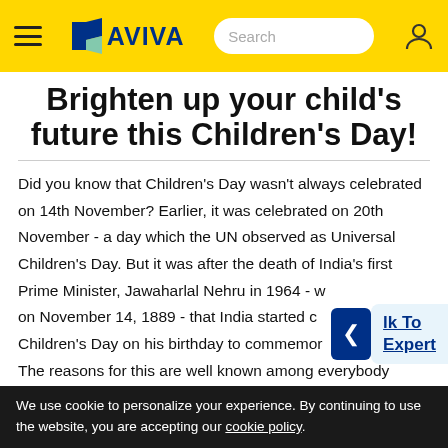AVIVA — Search — navigation header
Brighten up your child's future this Children's Day!
Did you know that Children's Day wasn't always celebrated on 14th November? Earlier, it was celebrated on 20th November - a day which the UN observed as Universal Children's Day. But it was after the death of India's first Prime Minister, Jawaharlal Nehru in 1964 - who was born on November 14, 1889 - that India started celebrating Children's Day on his birthday to commemorate... The reasons for this are well known among everybody
We use cookie to personalize your experience. By continuing to use the website, you are accepting our cookie policy.